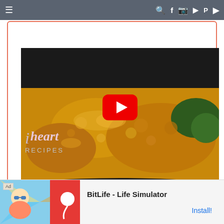Navigation bar with hamburger menu and social icons (search, facebook, instagram, pinterest, youtube)
[Figure (screenshot): Video thumbnail showing a casserole dish with cheesy macaroni and broccoli, with a YouTube play button overlay and 'I Heart Recipes' logo watermark. The thumbnail is inside a card with a coral/salmon border.]
[Figure (other): Scroll-to-top circular button with upward arrow, bottom right of page]
[Figure (other): Advertisement banner for BitLife - Life Simulator app with Install button]